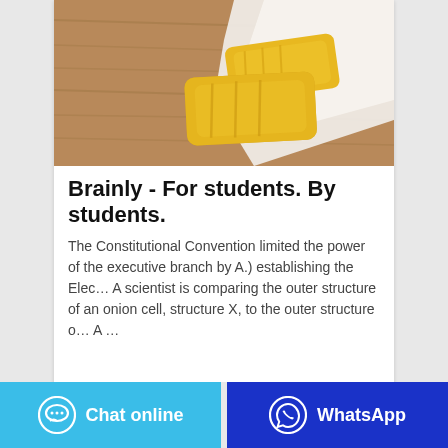[Figure (photo): Photo of yellow soap bars on a wooden surface next to a white cloth/towel]
Brainly - For students. By students.
The Constitutional Convention limited the power of the executive branch by A.) establishing the Elec… A scientist is comparing the outer structure of an onion cell, structure X, to the outer structure o… A …
Chat online
WhatsApp